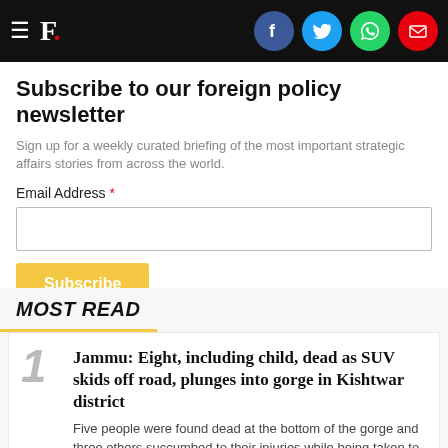F. (Firstpost logo with social share icons: Facebook, Twitter, WhatsApp, Email)
Subscribe to our foreign policy newsletter
Sign up for a weekly curated briefing of the most important strategic affairs stories from across the world.
Email Address *
MOST READ
1 Jammu: Eight, including child, dead as SUV skids off road, plunges into gorge in Kishtwar district
Five people were found dead at the bottom of the gorge and three others succumbed to their injuries while being taken to the hospital